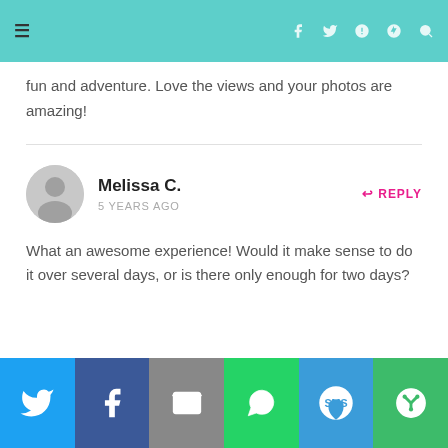Navigation header with hamburger menu and social icons
fun and adventure. Love the views and your photos are amazing!
Melissa C. — 5 YEARS AGO — REPLY
What an awesome experience! Would it make sense to do it over several days, or is there only enough for two days?